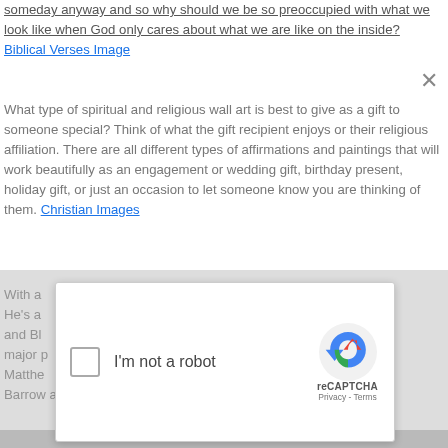someday anyway and so why should we be so preoccupied with what we look like when God only cares about what we are like on the inside? Biblical Verses Image
What type of spiritual and religious wall art is best to give as a gift to someone special? Think of what the gift recipient enjoys or their religious affiliation. There are all different types of affirmations and paintings that will work beautifully as an engagement or wedding gift, birthday present, holiday gift, or just an occasion to let someone know you are thinking of them. Christian Images
With a [reCAPTCHA obscured text]. He's a [obscured] (TBN) and B[obscured]ng in major p[obscured]Michael Matthew[obscured]ela Barrow and Lizzie Berry).
[Figure (screenshot): reCAPTCHA widget modal with checkbox 'I'm not a robot' and Google reCAPTCHA logo with Privacy - Terms links]
Add a charming reminder to your walls with this art. A perfect finishing touch for traditional spaces, it adds style and spirit to your home. This piece showcases a typographic motif written in black cursive font and reading "What if you woke up today with only what you thanked God for yesterday?" The vintage paper-inspired background adds an extra touch of classic appeal to this art. Made in America, this art is printed on wrapped canvas and enhanced by a detailed